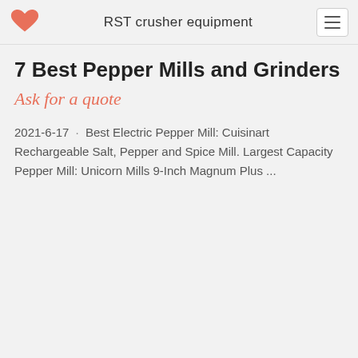RST crusher equipment
7 Best Pepper Mills and Grinders
Ask for a quote
2021-6-17 · Best Electric Pepper Mill: Cuisinart Rechargeable Salt, Pepper and Spice Mill. Largest Capacity Pepper Mill: Unicorn Mills 9-Inch Magnum Plus ...